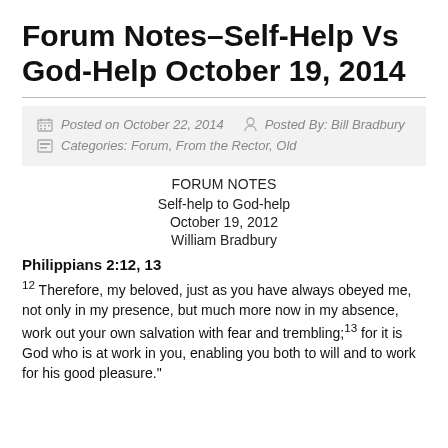Forum Notes–Self-Help Vs God-Help October 19, 2014
Posted on October 22, 2014   Posted By: Bill Bradbury
Categories: Forum, From the Rector, Old
FORUM NOTES
Self-help to God-help
October 19, 2012
William Bradbury
Philippians 2:12, 13
12 Therefore, my beloved, just as you have always obeyed me, not only in my presence, but much more now in my absence, work out your own salvation with fear and trembling;13 for it is God who is at work in you, enabling you both to will and to work for his good pleasure."